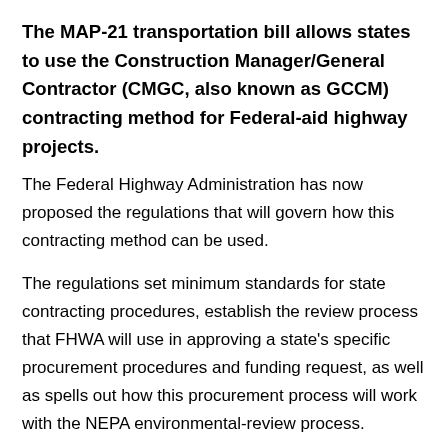The MAP-21 transportation bill allows states to use the Construction Manager/General Contractor (CMGC, also known as GCCM) contracting method for Federal-aid highway projects.
The Federal Highway Administration has now proposed the regulations that will govern how this contracting method can be used.
The regulations set minimum standards for state contracting procedures, establish the review process that FHWA will use in approving a state's specific procurement procedures and funding request, as well as spells out how this procurement process will work with the NEPA environmental-review process.
AGC of America submitted comments on the proposed rule and...